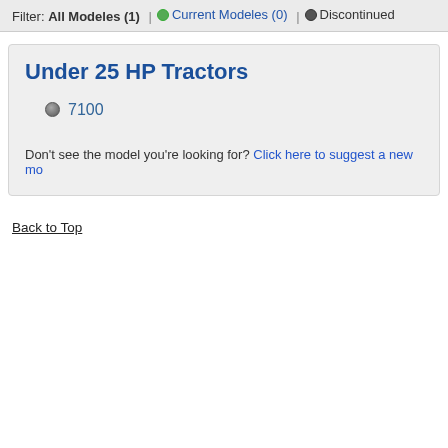Filter: All Modeles (1) | ● Current Modeles (0) | ● Discontinued
Under 25 HP Tractors
7100
Don't see the model you're looking for? Click here to suggest a new mo
Back to Top